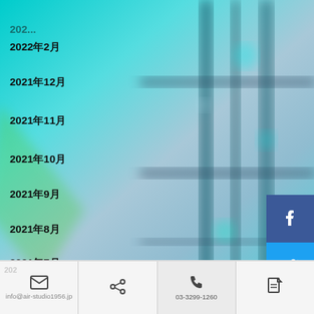[Figure (photo): Blurred background photo of teal/cyan colored structural bars or window frames with bokeh effect]
2022年2月
2021年12月
2021年11月
2021年10月
2021年9月
2021年8月
2021年7月
2021年6月
2021年5月
info@air-studio1956.jp | 03-3299-1260